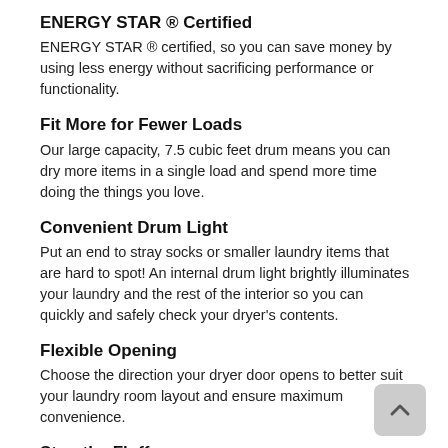ENERGY STAR ® Certified
ENERGY STAR ® certified, so you can save money by using less energy without sacrificing performance or functionality.
Fit More for Fewer Loads
Our large capacity, 7.5 cubic feet drum means you can dry more items in a single load and spend more time doing the things you love.
Convenient Drum Light
Put an end to stray socks or smaller laundry items that are hard to spot! An internal drum light brightly illuminates your laundry and the rest of the interior so you can quickly and safely check your dryer's contents.
Flexible Opening
Choose the direction your dryer door opens to better suit your laundry room layout and ensure maximum convenience.
Stop the Fluff
Stop worrying about lint or fluff building-up and blocking your dryer's air intake. The Filter Check Indicator light on